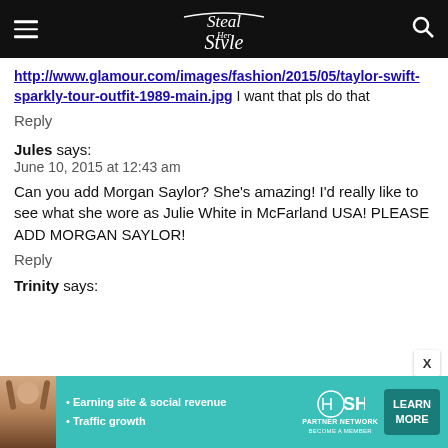Steal Her Style
http://www.glamour.com/images/fashion/2015/05/taylor-swift-sparkly-tour-outfit-1989-main.jpg I want that pls do that
Reply
Jules says:
June 10, 2015 at 12:43 am
Can you add Morgan Saylor? She's amazing! I'd really like to see what she wore as Julie White in McFarland USA! PLEASE ADD MORGAN SAYLOR!
Reply
Trinity says:
[Figure (infographic): Advertisement banner for SHE Partner Network with photo of woman, bullets about Earning site & social revenue and Traffic growth, SHE logo, and LEARN MORE button]